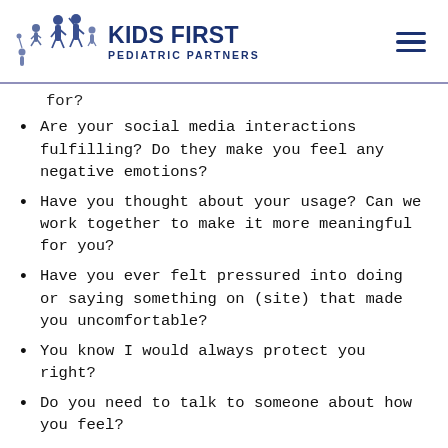[Figure (logo): Kids First Pediatric Partners logo with silhouettes of children and adults in blue]
KIDS FIRST PEDIATRIC PARTNERS
for?
Are your social media interactions fulfilling? Do they make you feel any negative emotions?
Have you thought about your usage? Can we work together to make it more meaningful for you?
Have you ever felt pressured into doing or saying something on (site) that made you uncomfortable?
You know I would always protect you right?
Do you need to talk to someone about how you feel?